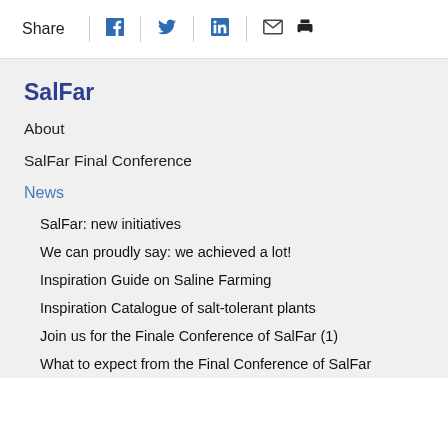Share
SalFar
About
SalFar Final Conference
News
SalFar: new initiatives
We can proudly say: we achieved a lot!
Inspiration Guide on Saline Farming
Inspiration Catalogue of salt-tolerant plants
Join us for the Finale Conference of SalFar (1)
What to expect from the Final Conference of SalFar